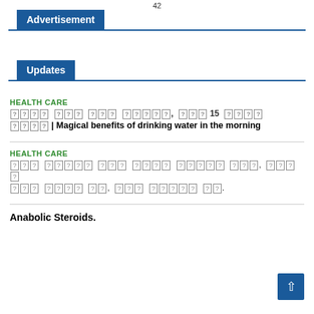42
Advertisement
Updates
HEALTH CARE
[unrenderable characters] | Magical benefits of drinking water in the morning
HEALTH CARE
[unrenderable characters].
Anabolic Steroids.